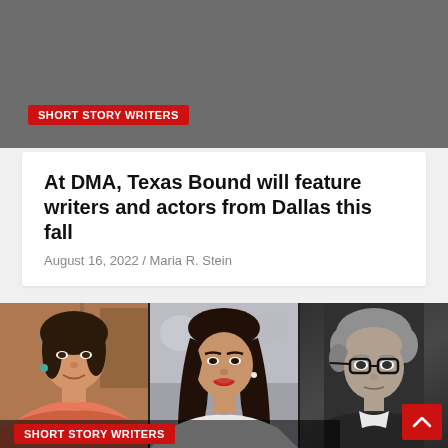[Figure (photo): Grey banner image at top of page]
SHORT STORY WRITERS
At DMA, Texas Bound will feature writers and actors from Dallas this fall
August 16, 2022 / Maria R. Stein
[Figure (photo): Three portrait photos of short story writers side by side]
SHORT STORY WRITERS